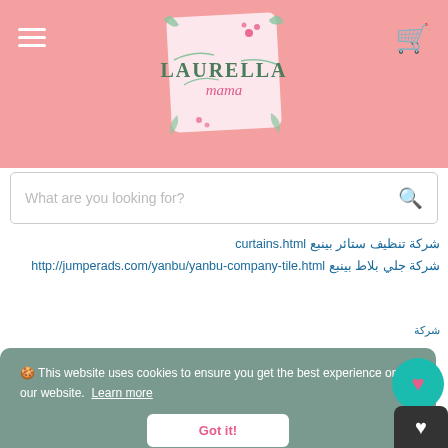[Figure (logo): Laurella Mama logo with floral decoration on pink background]
What are you looking for?
شركة تنظيف ستائر بينبع curtains.html
شركة جلي بلاط بينبع http://jumperads.com/yanbu/yanbu-company-tile.html
🍪 This website uses cookies to ensure you get the best experience on our website. Learn more
Got it!
شركة نقل http://mycanadafitness.com/movingfurnitureahsa.html